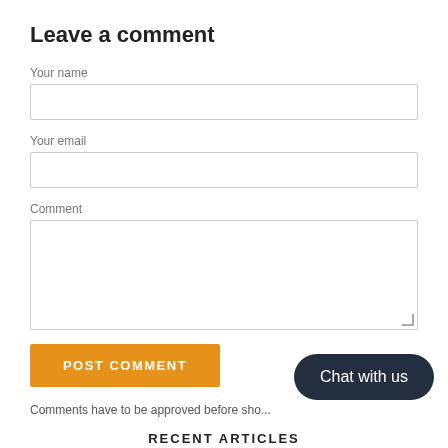Leave a comment
Your name
Your email
Comment
POST COMMENT
Comments have to be approved before sho...
RECENT ARTICLES
Celebrating 17 Years Of Fair Trade And Incredible Women
POSTED ON JULY 27, 2022
[Figure (screenshot): Chat with us overlay widget in dark pill shape at bottom right]